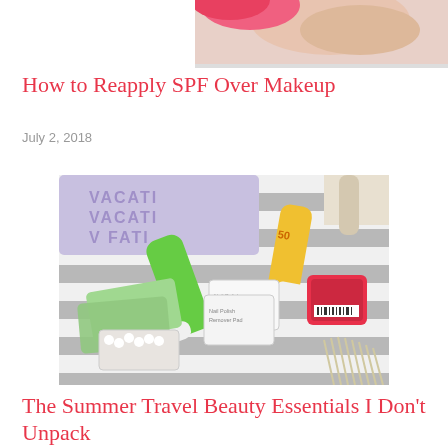[Figure (photo): Top portion of a photo showing a hand holding something pink/floral, cropped at top of page]
How to Reapply SPF Over Makeup
July 2, 2018
[Figure (photo): Flat lay photo of summer travel beauty products including a green tube, SPF 50 sunscreen, nail polish remover pads, cotton swabs, and other beauty items on a striped surface with a purple VACATION pouch in background]
The Summer Travel Beauty Essentials I Don't Unpack
June 11, 2018